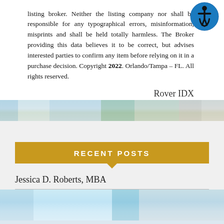listing broker. Neither the listing company nor shall be responsible for any typographical errors, misinformation, misprints and shall be held totally harmless. The Broker providing this data believes it to be correct, but advises interested parties to confirm any item before relying on it in a purchase decision. Copyright 2022. Orlando/Tampa – FL. All rights reserved.
Rover IDX
[Figure (photo): Decorative real estate photo strip]
RECENT POSTS
Jessica D. Roberts, MBA
[Figure (photo): Decorative real estate pool/exterior photo strip]
Proudly powered by WordPress Theme: Estella